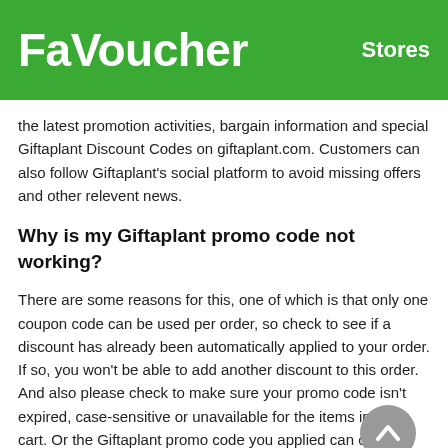FaVoucher   Stores
the latest promotion activities, bargain information and special Giftaplant Discount Codes on giftaplant.com. Customers can also follow Giftaplant's social platform to avoid missing offers and other relevent news.
Why is my Giftaplant promo code not working?
There are some reasons for this, one of which is that only one coupon code can be used per order, so check to see if a discount has already been automatically applied to your order. If so, you won't be able to add another discount to this order. And also please check to make sure your promo code isn't expired, case-sensitive or unavailable for the items in your cart. Or the Giftaplant promo code you applied can only be